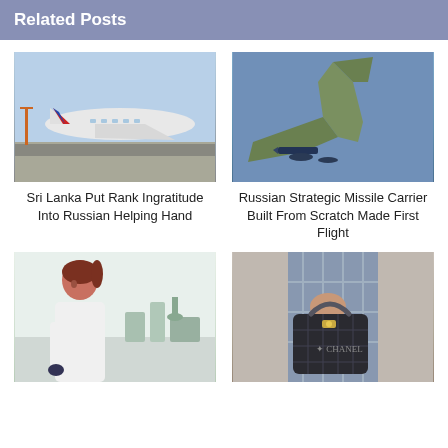Related Posts
[Figure (photo): Aeroflot airplane on runway]
Sri Lanka Put Rank Ingratitude Into Russian Helping Hand
[Figure (photo): Russian strategic missile carrier aircraft in flight]
Russian Strategic Missile Carrier Built From Scratch Made First Flight
[Figure (photo): Female scientist working in laboratory]
[Figure (photo): Person holding luxury handbag]